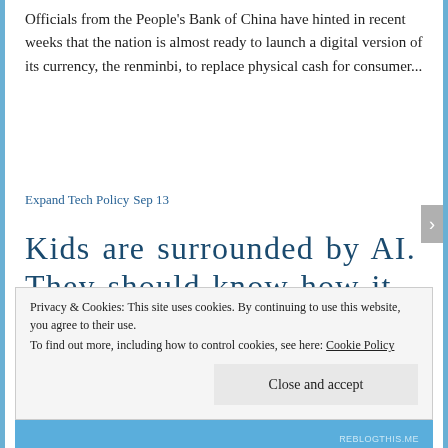Officials from the People's Bank of China have hinted in recent weeks that the nation is almost ready to launch a digital version of its currency, the renminbi, to replace physical cash for consumer...
Expand Tech Policy Sep 13
Kids are surrounded by AI. They should know how it works
Privacy & Cookies: This site uses cookies. By continuing to use this website, you agree to their use.
To find out more, including how to control cookies, see here: Cookie Policy
Close and accept